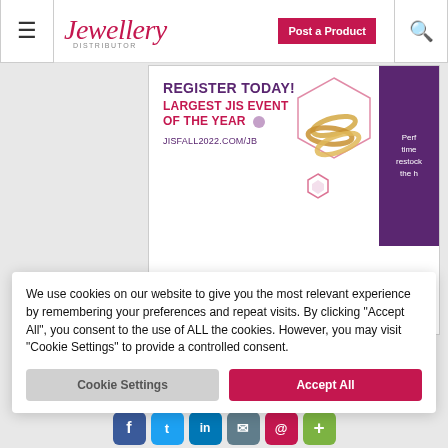Jewellery
[Figure (infographic): Advertisement banner for JIS Fall 2022 event: REGISTER TODAY! LARGEST JIS EVENT OF THE YEAR JISFALL2022.COM/JB, with jewellery rings image and purple block with partial text]
Leave a Comment
Terms and Conditions of Use
We use cookies on our website to give you the most relevant experience by remembering your preferences and repeat visits. By clicking "Accept All", you consent to the use of ALL the cookies. However, you may visit "Cookie Settings" to provide a controlled consent.
Cookie Settings | Accept All